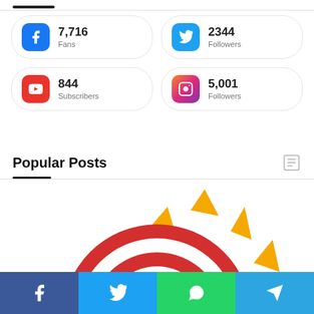7,716 Fans
2344 Followers
844 Subscribers
5,001 Followers
Popular Posts
[Figure (illustration): Aadhaar card logo: concentric red/white semicircles with golden sun-like petals, partially visible, cropped at bottom]
[Figure (infographic): Bottom share bar with Facebook, Twitter, WhatsApp, and Telegram icons]